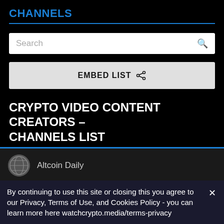CHANNELS
[Figure (screenshot): Search input box with placeholder text 'Search' and a magnifying glass icon on the right]
[Figure (screenshot): Button labeled 'EMBED LIST' with a share icon]
CRYPTO VIDEO CONTENT CREATORS – CHANNELS LIST
[Figure (screenshot): Channel list item showing Altcoin Daily with a circular avatar icon]
By continuing to use this site or closing this you agree to our Privacy, Terms of Use, and Cookies Policy - you can learn more here watchcrypto.media/terms-privacy